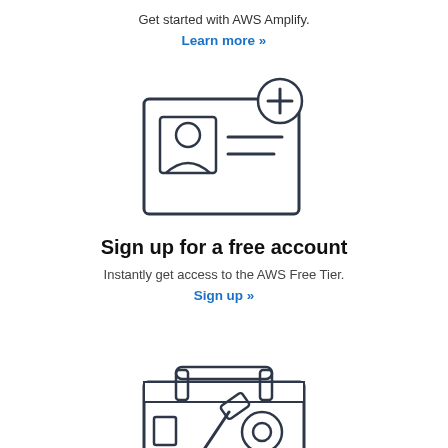Get started with AWS Amplify.
Learn more »
[Figure (illustration): Icon of a user profile card with a plus symbol in the top-right corner, indicating adding a new account]
Sign up for a free account
Instantly get access to the AWS Free Tier.
Sign up »
[Figure (illustration): Icon of a toolbox with a hammer and wrench inside, indicating developer tools or support]
Have more questions?